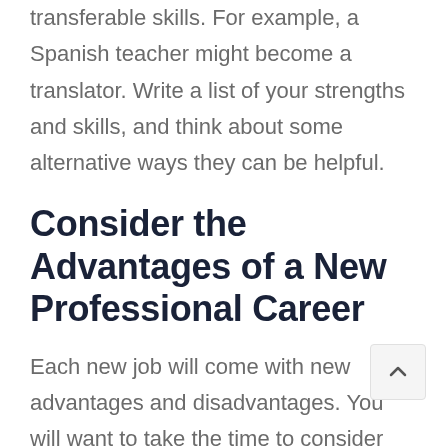transferable skills. For example, a Spanish teacher might become a translator. Write a list of your strengths and skills, and think about some alternative ways they can be helpful.
Consider the Advantages of a New Professional Career
Each new job will come with new advantages and disadvantages. You will want to take the time to consider what these might mean for you, and